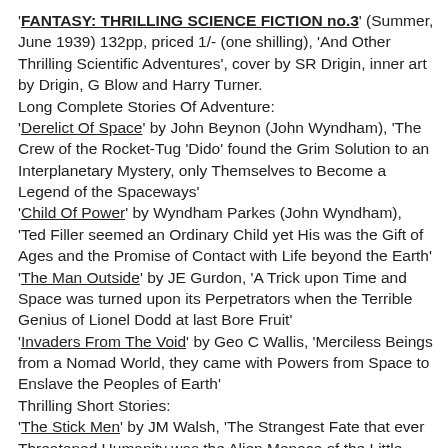'FANTASY: THRILLING SCIENCE FICTION no.3' (Summer, June 1939) 132pp, priced 1/- (one shilling), 'And Other Thrilling Scientific Adventures', cover by SR Drigin, inner art by Drigin, G Blow and Harry Turner. Long Complete Stories Of Adventure: 'Derelict Of Space' by John Beynon (John Wyndham), 'The Crew of the Rocket-Tug 'Dido' found the Grim Solution to an Interplanetary Mystery, only Themselves to Become a Legend of the Spaceways' 'Child Of Power' by Wyndham Parkes (John Wyndham), 'Ted Filler seemed an Ordinary Child yet His was the Gift of Ages and the Promise of Contact with Life beyond the Earth' 'The Man Outside' by JE Gurdon, 'A Trick upon Time and Space was turned upon its Perpetrators when the Terrible Genius of Lionel Dodd at last Bore Fruit' 'Invaders From The Void' by Geo C Wallis, 'Merciless Beings from a Nomad World, they came with Powers from Space to Enslave the Peoples of Earth' Thrilling Short Stories: 'The Stick Men' by JM Walsh, 'The Strangest Fate that ever Threatened Humanity was the Alien Menace of the Little